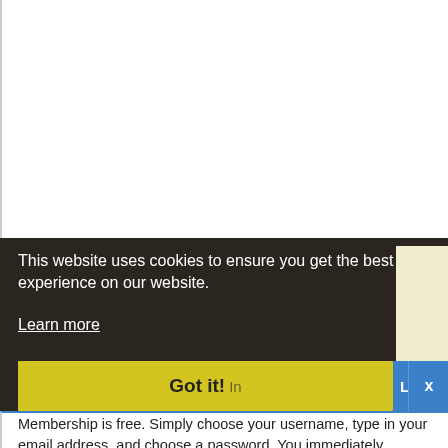[Figure (screenshot): Screenshot of a website with a cookie consent overlay. The top portion shows a white page area. A dark semi-transparent cookie notice overlay covers the lower portion showing the message: 'This website uses cookies to ensure you get the best experience on our website. Learn more' with a yellow 'Got it!' button. Behind the overlay, a blue navigation bar is partially visible with 'Create an Account', 'Log in', and 'x' elements. At the very bottom, text reads 'Membership is free. Simply choose your username, type in your email address, and choose a password. You immediately']
This website uses cookies to ensure you get the best experience on our website.
Learn more
Got it!
Membership is free. Simply choose your username, type in your email address, and choose a password. You immediately